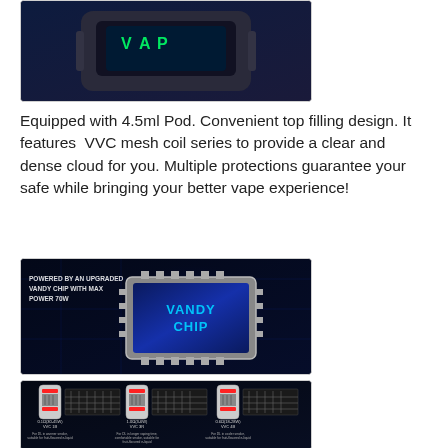[Figure (photo): Close-up photo of a vape device with a green display screen showing text, dark background]
Equipped with 4.5ml Pod. Convenient top filling design. It features VVC mesh coil series to provide a clear and dense cloud for you. Multiple protections guarantee your safe while bringing your better vape experience!
[Figure (photo): Image of a microchip/processor with blue LED lighting, text reads 'POWERED BY AN UPGRADED VANDY CHIP WITH MAX POWER 70W' and 'VANDY CHIP' on the chip surface]
[Figure (photo): Product photo showing multiple VVC coil types for vaping with specifications and descriptions for each coil type including DL and MTL options]